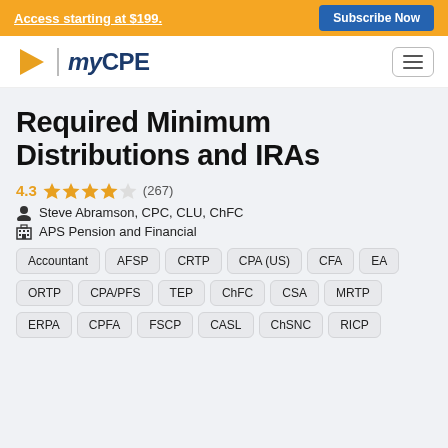Access starting at $199. Subscribe Now
[Figure (logo): myCPE logo with orange play-button triangle and dark blue text]
Required Minimum Distributions and IRAs
4.3 ★★★★½ (267)
Steve Abramson, CPC, CLU, ChFC
APS Pension and Financial
Accountant
AFSP
CRTP
CPA (US)
CFA
EA
ORTP
CPA/PFS
TEP
ChFC
CSA
MRTP
ERPA
CPFA
FSCP
CASL
ChSNC
RICP